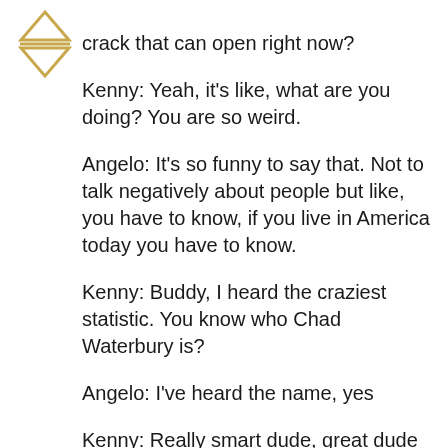[Figure (logo): Gold/tan colored star of david or asterisk-like icon with triangles pointing up and down]
crack that can open right now?
Kenny: Yeah, it's like, what are you doing? You are so weird.
Angelo: It's so funny to say that. Not to talk negatively about people but like, you have to know, if you live in America today you have to know.
Kenny: Buddy, I heard the craziest statistic. You know who Chad Waterbury is?
Angelo: I've heard the name, yes
Kenny: Really smart dude, great dude big into the fitness space forever. He started writing blogs and doing the whole YouTube thing stuff back in the early 2000s. My buddy Jay is friends with him.